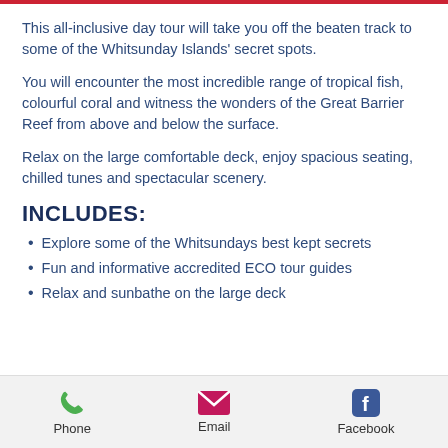This all-inclusive day tour will take you off the beaten track to some of the Whitsunday Islands' secret spots.
You will encounter the most incredible range of tropical fish,  colourful coral and witness the wonders of the Great Barrier Reef from above and below the surface.
Relax on the large comfortable deck, enjoy spacious seating, chilled tunes and spectacular scenery.
INCLUDES:
Explore some of the Whitsundays best kept secrets
Fun and informative accredited ECO tour guides
Relax and sunbathe on the large deck
Phone   Email   Facebook